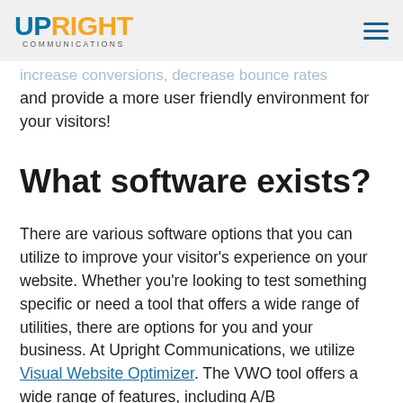UP RIGHT COMMUNICATIONS [logo] | hamburger menu
interacts with your website. From this data,
increase conversions, decrease bounce rates and provide a more user friendly environment for your visitors!
What software exists?
There are various software options that you can utilize to improve your visitor's experience on your website. Whether you're looking to test something specific or need a tool that offers a wide range of utilities, there are options for you and your business. At Upright Communications, we utilize Visual Website Optimizer. The VWO tool offers a wide range of features, including A/B